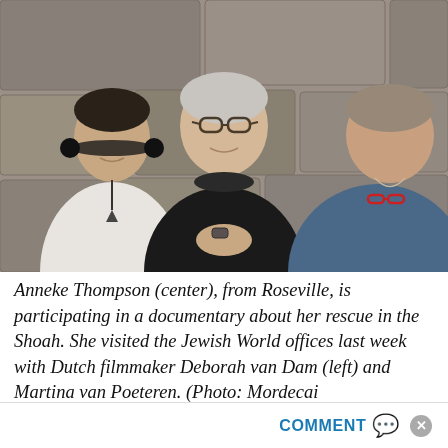[Figure (photo): Three people standing together in front of a stone wall background. Left: a younger woman with headphones around her neck wearing a white graphic t-shirt. Center: an older woman with glasses and short gray hair wearing a black blouse. Right: partially visible person in a denim shirt with red-framed glasses.]
Anneke Thompson (center), from Roseville, is participating in a documentary about her rescue in the Shoah. She visited the Jewish World offices last week with Dutch filmmaker Deborah van Dam (left) and Martina van Poeteren. (Photo: Mordecai
COMMENT